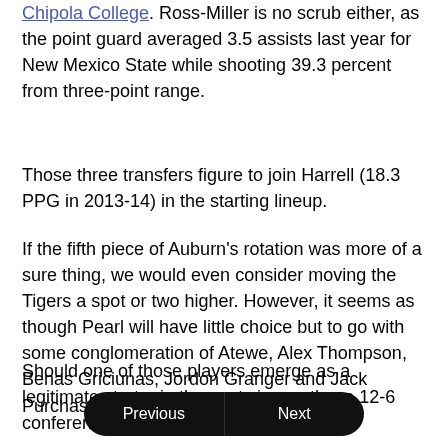Chipola College. Ross-Miller is no scrub either, as the point guard averaged 3.5 assists last year for New Mexico State while shooting 39.3 percent from three-point range.
Those three transfers figure to join Harrell (18.3 PPG in 2013-14) in the starting lineup.
If the fifth piece of Auburn's rotation was more of a sure thing, we would even consider moving the Tigers a spot or two higher. However, it seems as though Pearl will have little choice but to go with some conglomeration of Atewe, Alex Thompson, Benas Griciunas, Jordon Granger and Jack Purchase as the team's second big man.
Should one of those players emerge as a legitimate starter in the next six months, a 12-6 conference record for Auburn is abso